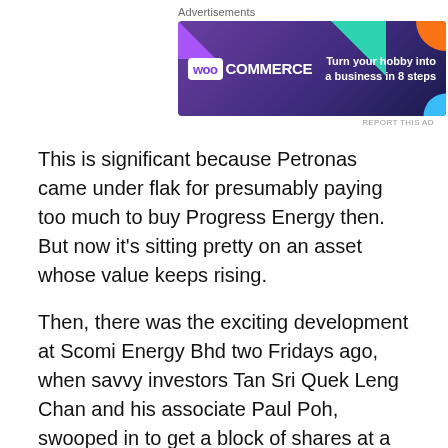[Figure (other): WooCommerce advertisement banner: 'Turn your hobby into a business in 8 steps']
This is significant because Petronas came under flak for presumably paying too much to buy Progress Energy then. But now it's sitting pretty on an asset whose value keeps rising.
Then, there was the exciting development at Scomi Energy Bhd two Fridays ago, when savvy investors Tan Sri Quek Leng Chan and his associate Paul Poh, swooped in to get a block of shares at a seemingly mouth-watering discount.
By Monday, the buyers of this block of 11.5% of Scomi Energy – that included Norway's oil fund, Norges and Lembaga Tabung Haji – were sitting on a 42% paper